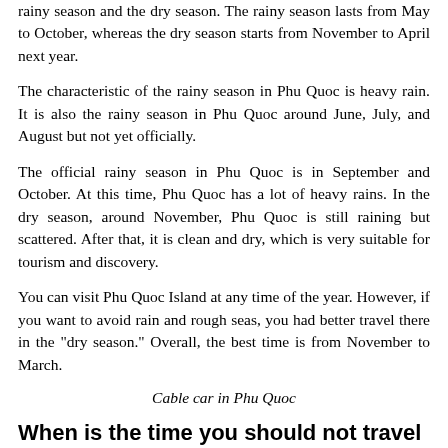rainy season and the dry season. The rainy season lasts from May to October, whereas the dry season starts from November to April next year.
The characteristic of the rainy season in Phu Quoc is heavy rain. It is also the rainy season in Phu Quoc around June, July, and August but not yet officially.
The official rainy season in Phu Quoc is in September and October. At this time, Phu Quoc has a lot of heavy rains. In the dry season, around November, Phu Quoc is still raining but scattered. After that, it is clean and dry, which is very suitable for tourism and discovery.
You can visit Phu Quoc Island at any time of the year. However, if you want to avoid rain and rough seas, you had better travel there in the "dry season." Overall, the best time is from November to March.
Cable car in Phu Quoc
When is the time you should not travel to Phu Quoc?